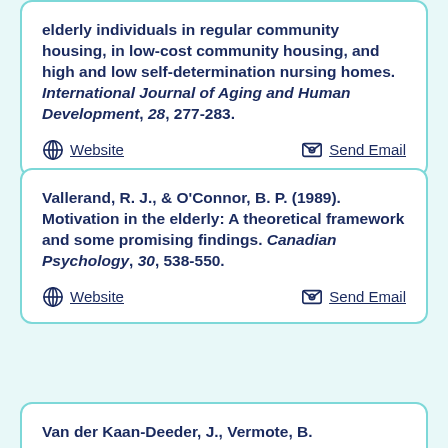elderly individuals in regular community housing, in low-cost community housing, and high and low self-determination nursing homes. International Journal of Aging and Human Development, 28, 277-283.
Website   Send Email
Vallerand, R. J., & O'Connor, B. P. (1989). Motivation in the elderly: A theoretical framework and some promising findings. Canadian Psychology, 30, 538-550.
Website   Send Email
Van der Kaan-Deeder, J., Vermote, B...